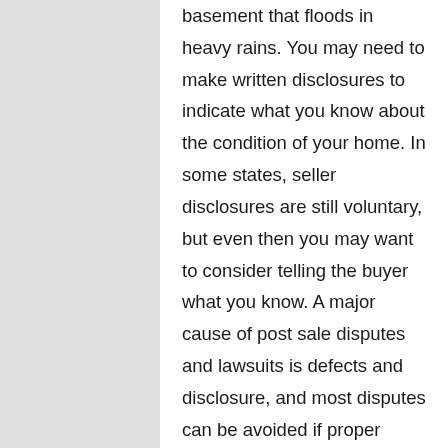basement that floods in heavy rains. You may need to make written disclosures to indicate what you know about the condition of your home. In some states, seller disclosures are still voluntary, but even then you may want to consider telling the buyer what you know. A major cause of post sale disputes and lawsuits is defects and disclosure, and most disputes can be avoided if proper disclosures are made. This is an area of the law that changes rapidly, differs widely from state to state, and may be affected by local ordinances, so look for up-to-date information on the law that applies to you. How does the seller make disclosure? It depends. In many states, compliance with disclosure obligations is made easy through the use of seller disclosure forms. These forms consist of a long list of questions, for example whether